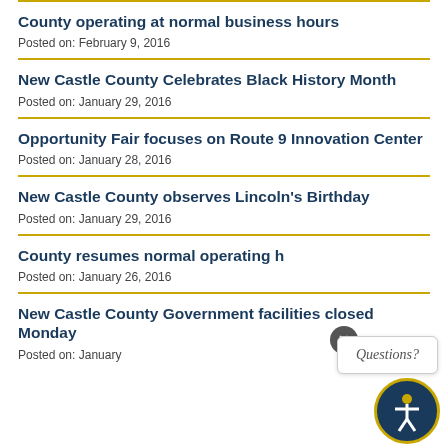County operating at normal business hours
Posted on: February 9, 2016
New Castle County Celebrates Black History Month
Posted on: January 29, 2016
Opportunity Fair focuses on Route 9 Innovation Center
Posted on: January 28, 2016
New Castle County observes Lincoln's Birthday
Posted on: January 29, 2016
County resumes normal operating h…
Posted on: January 26, 2016
New Castle County Government facilities closed Monday
Posted on: January 2x, 2016